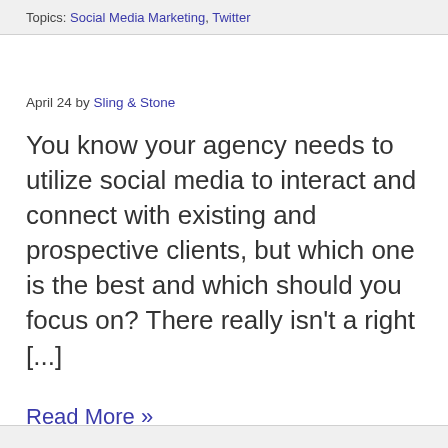Topics: Social Media Marketing, Twitter
April 24 by Sling & Stone
You know your agency needs to utilize social media to interact and connect with existing and prospective clients, but which one is the best and which should you focus on? There really isn't a right [...]
Read More »